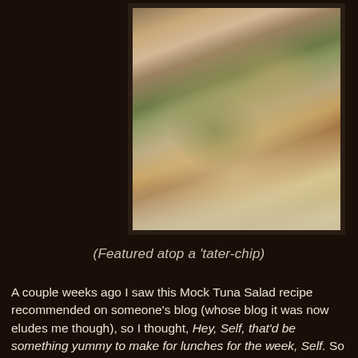[Figure (photo): Close-up photo of Mock Tuna Salad mixture topped on a potato chip, showing chunky mixture with green and beige tones on a light background]
(Featured atop a 'tater-chip)
A couple weeks ago I saw this Mock Tuna Salad recipe recommended on someone's blog (whose blog it was now eludes me though), so I thought, Hey, Self, that'd be something yummy to make for lunches for the week, Self. So Self made a batch of "Tuna" Salad and was knocked off her feet by it. But then Self realized that she'd never actually